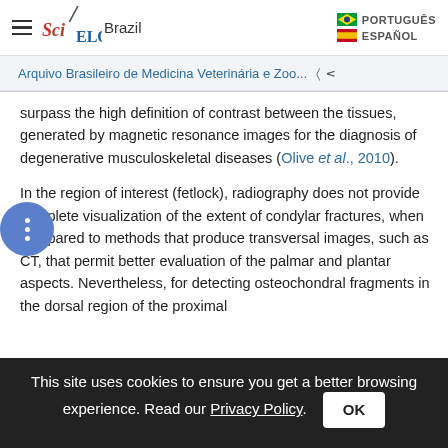SciELO Brazil — PORTUGUÊS ESPAÑOL
Arquivo Brasileiro de Medicina Veterinária e Zoo...
surpass the high definition of contrast between the tissues, generated by magnetic resonance images for the diagnosis of degenerative musculoskeletal diseases (Olive et al., 2010).
In the region of interest (fetlock), radiography does not provide complete visualization of the extent of condylar fractures, when compared to methods that produce transversal images, such as CT, that permit better evaluation of the palmar and plantar aspects. Nevertheless, for detecting osteochondral fragments in the dorsal region of the proximal
This site uses cookies to ensure you get a better browsing experience. Read our Privacy Policy.